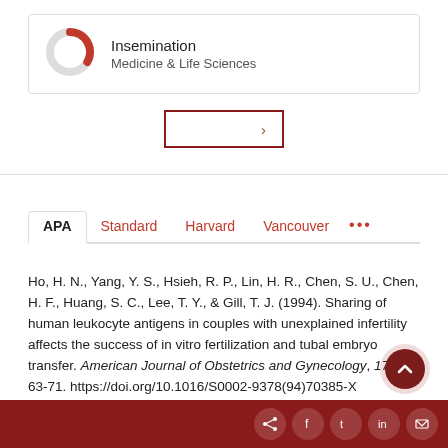[Figure (donut-chart): Partial donut/ring chart icon in red and gray indicating 'Insemination' fingerprint/concept score]
Insemination
Medicine & Life Sciences
[Figure (other): Button with border and right-arrow chevron, for expanding more content]
APA   Standard   Harvard   Vancouver   ...
Ho, H. N., Yang, Y. S., Hsieh, R. P., Lin, H. R., Chen, S. U., Chen, H. F., Huang, S. C., Lee, T. Y., & Gill, T. J. (1994). Sharing of human leukocyte antigens in couples with unexplained infertility affects the success of in vitro fertilization and tubal embryo transfer. American Journal of Obstetrics and Gynecology, 170(1), 63-71. https://doi.org/10.1016/S0002-9378(94)70385-X